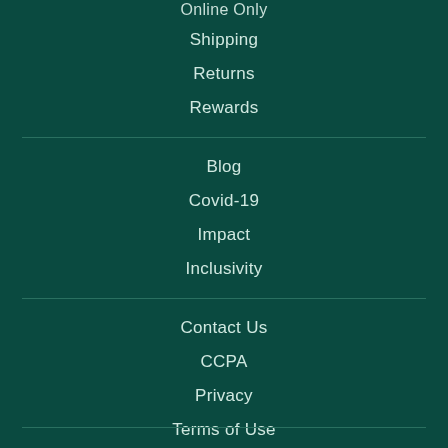Online Only
Shipping
Returns
Rewards
Blog
Covid-19
Impact
Inclusivity
Contact Us
CCPA
Privacy
Terms of Use